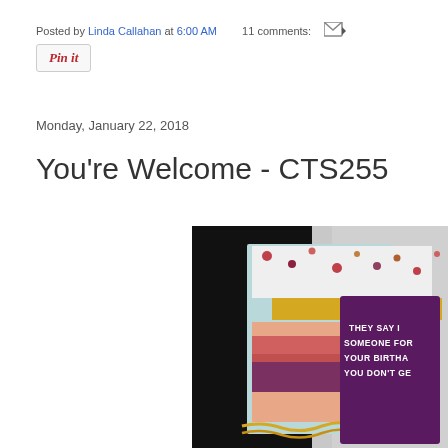Posted by Linda Callahan at 6:00 AM   11 comments:
[Figure (other): Pin it button]
Monday, January 22, 2018
You're Welcome - CTS255
[Figure (photo): Photo of handmade birthday cards leaning against a white door frame. Cards feature polka dot and striped patterns in pink, magenta, purple, gold. A purple card reads 'THEY SAY SOMEONE FOR YOUR BIRTH YOU DON'T GE...']